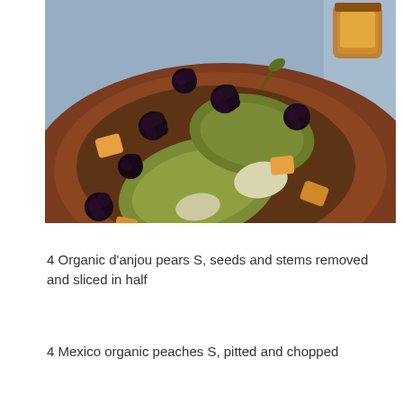[Figure (photo): A photo of a fruit plate on a terracotta/brown plate showing sliced green pears, blackberries, and chopped peach pieces, with a small glass jar of honey visible in the upper right corner, set on a blue cloth background.]
4 Organic d'anjou pears S, seeds and stems removed and sliced in half
4 Mexico organic peaches S, pitted and chopped